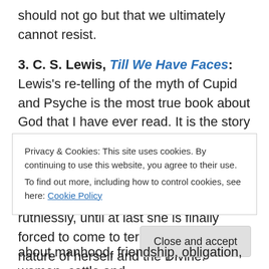should not go but that we ultimately cannot resist.
3. C. S. Lewis, Till We Have Faces: Lewis's re-telling of the myth of Cupid and Psyche is the most true book about God that I have ever read. It is the story of an ugly queen whose beautiful sister is taken from her by a god, and who unintentionally enacts her revenge on everyone around her by taking just as ruthlessly, until at last she is finally forced to come to terms with the true nature of herself and the Divine.
4. Larry McMurtry, Lonesome Dove: An epic, episodic
Privacy & Cookies: This site uses cookies. By continuing to use this website, you agree to their use.
To find out more, including how to control cookies, see here: Cookie Policy
about manhood, friendship, obligation, women, cattle and